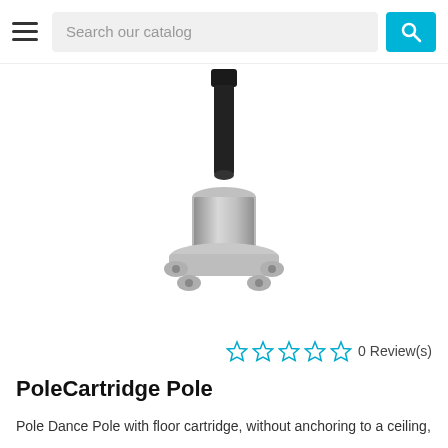Search our catalog
[Figure (photo): PoleCartridge Pole product photo showing a black metal pole/shaft above a silver floor-mount cartridge base with flanged feet]
0 Review(s)
PoleCartridge Pole
Pole Dance Pole with floor cartridge, without anchoring to a ceiling,